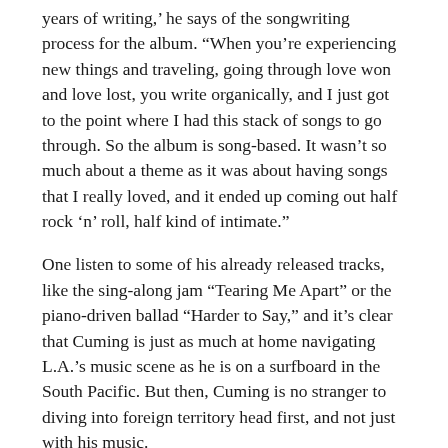years of writing,' he says of the songwriting process for the album. "When you're experiencing new things and traveling, going through love won and love lost, you write organically, and I just got to the point where I had this stack of songs to go through. So the album is song-based. It wasn't so much about a theme as it was about having songs that I really loved, and it ended up coming out half rock 'n' roll, half kind of intimate."
One listen to some of his already released tracks, like the sing-along jam "Tearing Me Apart" or the piano-driven ballad "Harder to Say," and it's clear that Cuming is just as much at home navigating L.A.'s music scene as he is on a surfboard in the South Pacific. But then, Cuming is no stranger to diving into foreign territory head first, and not just with his music.
"I love to travel. I love to experience new places and obviously, I try to find surf wherever I can," he says. "I've never really explored Europe, but it doesn't interest me as much as a lot of developing countries do, just because there's a certain culture and mystery to those places."